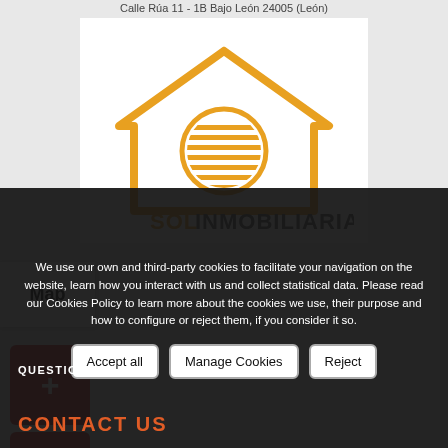Calle Rúa 11 - 1B Bajo León 24005 (León)
[Figure (logo): Sol Inmobiliaria logo — orange house outline with striped circle sun, text SOLINMOBILIARIA below in orange]
Map
[Figure (other): Map zoom-in button (red square with + symbol)]
[Figure (other): Map zoom-out button (red square with − symbol)]
We use our own and third-party cookies to facilitate your navigation on the website, learn how you interact with us and collect statistical data. Please read our Cookies Policy to learn more about the cookies we use, their purpose and how to configure or reject them, if you consider it so.
Accept all
Manage Cookies
Reject
QUESTION?
CONTACT US